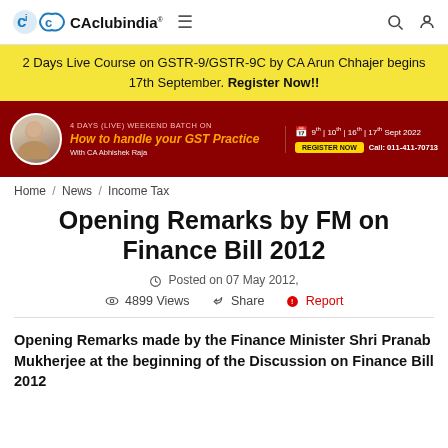CAclubindia®  ≡  🔍  👤
2 Days Live Course on GSTR-9/GSTR-9C by CA Arun Chhajer begins 17th September. Register Now!!
[Figure (infographic): Red banner ad: 4 Days (Live) Weekend Batch on How to handle your GST Practice with CA Abhishek Raja. Dates: 9th | 10th | 16th | 17th Sept 2022. Register Now button. Call: 011-411-70713.]
Home / News / Income Tax
Opening Remarks by FM on Finance Bill 2012
Posted on 07 May 2012,
4899 Views   Share   Report
Opening Remarks made by the Finance Minister Shri Pranab Mukherjee at the beginning of the Discussion on Finance Bill 2012